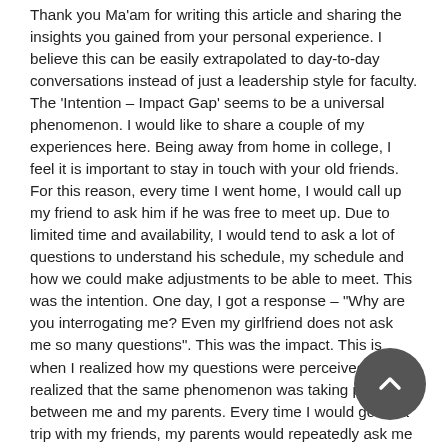Thank you Ma'am for writing this article and sharing the insights you gained from your personal experience. I believe this can be easily extrapolated to day-to-day conversations instead of just a leadership style for faculty. The 'Intention – Impact Gap' seems to be a universal phenomenon. I would like to share a couple of my experiences here. Being away from home in college, I feel it is important to stay in touch with your old friends. For this reason, every time I went home, I would call up my friend to ask him if he was free to meet up. Due to limited time and availability, I would tend to ask a lot of questions to understand his schedule, my schedule and how we could make adjustments to be able to meet. This was the intention. One day, I got a response – "Why are you interrogating me? Even my girlfriend does not ask me so many questions". This was the impact. This is when I realized how my questions were perceived. I realized that the same phenomenon was taking place between me and my parents. Every time I would go on a trip with my friends, my parents would repeatedly ask me to share pictures. They seemed impatient – I can show them the pictures when I get back home, right? What could be the reason? Are they trying to keep track of where I go and what I do? Do they not trust me? This was the impact. I would become grumpy and rebellious when I went on trips and this would make them worry even more. However, it was only when I complained about the same that they explained their reasons. They said they just wanted to be a part of my life and that the images would be further talking points about the trip in addition to the routine mundane questions – How are you? Did you eat? How was your day? These always had the same answers – "I am fine", "Yes" and "Good". They did not want to let the distance affect our relationship and just wanted to be with me as much as